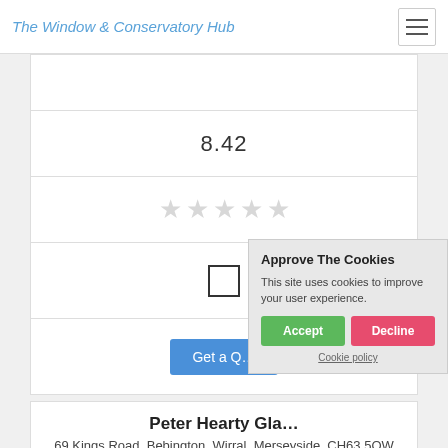The Window & Conservatory Hub
8.42
[Figure (other): Five empty star rating icons in light gray]
[Figure (other): Empty checkbox square]
[Figure (screenshot): Cookie consent popup: 'Approve The Cookies' with Accept and Decline buttons]
Peter Hearty Glazing
69 Kings Road, Bebington, Wirral, Merseyside, CH63 5QW